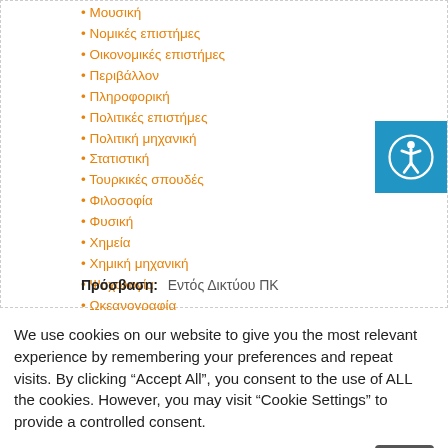• Μουσική
• Νομικές επιστήμες
• Οικονομικές επιστήμες
• Περιβάλλον
• Πληροφορική
• Πολιτικές επιστήμες
• Πολιτική μηχανική
• Στατιστική
• Τουρκικές σπουδές
• Φιλοσοφία
• Φυσική
• Χημεία
• Χημική μηχανική
• Ψυχολογία
• Ωκεανογραφία
Πρόσβαση: Εντός Δικτύου ΠΚ
We use cookies on our website to give you the most relevant experience by remembering your preferences and repeat visits. By clicking "Accept All", you consent to the use of ALL the cookies. However, you may visit "Cookie Settings" to provide a controlled consent.